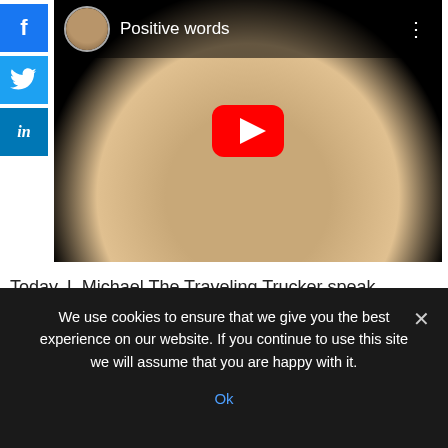[Figure (screenshot): Social media sharing buttons sidebar: Facebook (blue, f), Twitter (blue, bird), LinkedIn (blue, in)]
[Figure (screenshot): YouTube-style video thumbnail showing a man smiling, wearing a cap and glasses, with title 'Positive words' and a large red play button overlay.]
Today, I, Michael The Traveling Trucker speak blessings over you, READER. You have been looking for a long time for positive words to live by.
We use cookies to ensure that we give you the best experience on our website. If you continue to use this site we will assume that you are happy with it.
Ok